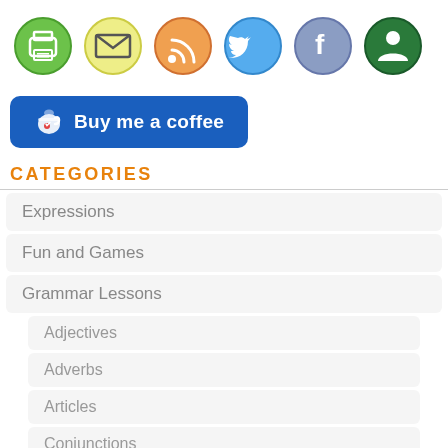[Figure (infographic): Row of social/sharing icon circles: printer (green), email (yellow), RSS (orange), Twitter (blue), Facebook (purple-blue), Google+ (dark green)]
[Figure (infographic): Buy me a coffee button - blue rounded rectangle with coffee cup icon and heart]
CATEGORIES
Expressions
Fun and Games
Grammar Lessons
Adjectives
Adverbs
Articles
Conjunctions
Nouns